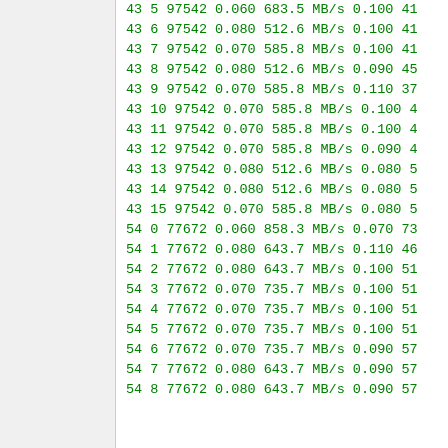43 5 97542 0.060 683.5 MB/s 0.100 41
43 6 97542 0.080 512.6 MB/s 0.100 41
43 7 97542 0.070 585.8 MB/s 0.100 41
43 8 97542 0.080 512.6 MB/s 0.090 45
43 9 97542 0.070 585.8 MB/s 0.110 37
43 10 97542 0.070 585.8 MB/s 0.100 4
43 11 97542 0.070 585.8 MB/s 0.100 4
43 12 97542 0.070 585.8 MB/s 0.090 4
43 13 97542 0.080 512.6 MB/s 0.080 5
43 14 97542 0.080 512.6 MB/s 0.080 5
43 15 97542 0.070 585.8 MB/s 0.080 5
54 0 77672 0.060 858.3 MB/s 0.070 73
54 1 77672 0.080 643.7 MB/s 0.110 46
54 2 77672 0.080 643.7 MB/s 0.100 51
54 3 77672 0.070 735.7 MB/s 0.100 51
54 4 77672 0.070 735.7 MB/s 0.100 51
54 5 77672 0.070 735.7 MB/s 0.100 51
54 6 77672 0.070 735.7 MB/s 0.090 57
54 7 77672 0.080 643.7 MB/s 0.090 57
54 8 77672 0.080 643.7 MB/s 0.090 57